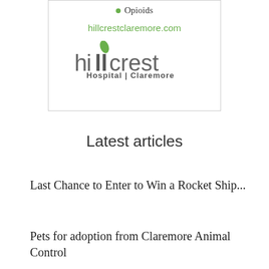Opioids
hillcrestclaremore.com
[Figure (logo): Hillcrest Hospital Claremore logo with green leaf above the letter i in hillcrest]
Latest articles
Last Chance to Enter to Win a Rocket Ship...
Pets for adoption from Claremore Animal Control